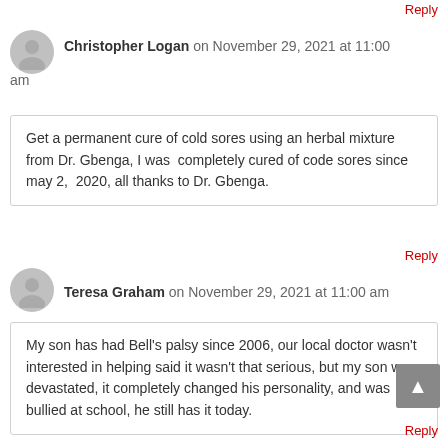Reply
Christopher Logan on November 29, 2021 at 11:00 am
Get a permanent cure of cold sores using an herbal mixture from Dr. Gbenga, I was  completely cured of code sores since may 2,  2020, all thanks to Dr. Gbenga.
Reply
Teresa Graham on November 29, 2021 at 11:00 am
My son has had Bell's palsy since 2006, our local doctor wasn't interested in helping said it wasn't that serious, but my son was devastated, it completely changed his personality, and was bullied at school, he still has it today.
Reply